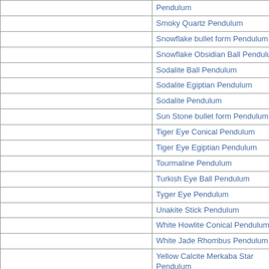|  |  |
| --- | --- |
|  | Pendulum |
|  | Smoky Quartz Pendulum |
|  | Snowflake bullet form Pendulum |
|  | Snowflake Obsidian Ball Pendulum |
|  | Sodalite Ball Pendulum |
|  | Sodalite Egiptian Pendulum |
|  | Sodalite Pendulum |
|  | Sun Stone bullet form Pendulum |
|  | Tiger Eye Conical Pendulum |
|  | Tiger Eye Egiptian Pendulum |
|  | Tourmaline Pendulum |
|  | Turkish Eye Ball Pendulum |
|  | Tyger Eye Pendulum |
|  | Unakite Stick Pendulum |
|  | White Howlite Conical Pendulum |
|  | White Jade Rhombus Pendulum |
|  | Yellow Calcite Merkaba Star Pendulum |
|  | Yellow Aventurine Pendulum |